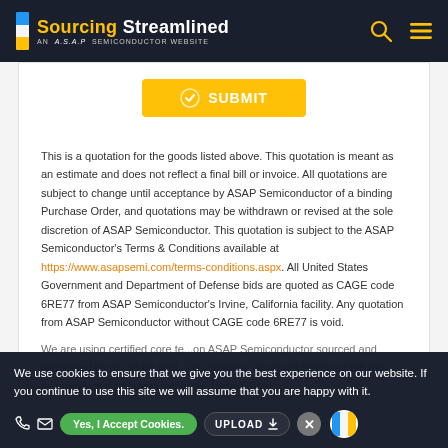Sourcing Streamlined — AN A.S.A.P SEMICONDUCTOR WEBSITE
[Figure (other): Submit button (orange/yellow) with shield checkmark icon and text SUBMIT]
This is a quotation for the goods listed above. This quotation is meant as an estimate and does not reflect a final bill or invoice. All quotations are subject to change until acceptance by ASAP Semiconductor of a binding Purchase Order, and quotations may be withdrawn or revised at the sole discretion of ASAP Semiconductor. This quotation is subject to the ASAP Semiconductor's Terms & Conditions available at https://www.asapsemi.com/terms-conditions.aspx. All United States Government and Department of Defense bids are quoted as CAGE code 6RE77 from ASAP Semiconductor's Irvine, California facility. Any quotation from ASAP Semiconductor without CAGE code 6RE77 is void.
We use cookies to ensure that we give you the best experience on our website. If you continue to use this site we will assume that you are happy with it.
Yes, I Accept Cookies.  UPLOAD